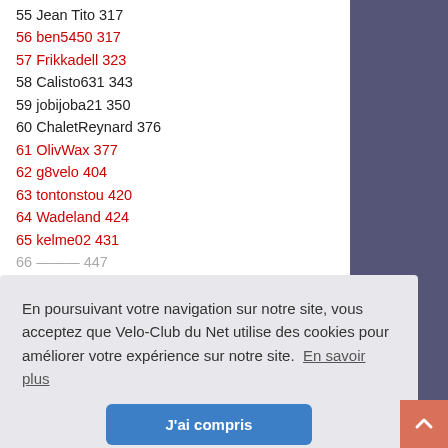55 Jean Tito 317
56 ben5450 317
57 Frikkadell 323
58 Calisto631 343
59 jobijoba21 350
60 ChaletReynard 376
61 OlivWax 377
62 g8velo 404
63 tontonstou 420
64 Wadeland 424
65 kelme02 431
66 [partially visible] 447
En poursuivant votre navigation sur notre site, vous acceptez que Velo-Club du Net utilise des cookies pour améliorer votre expérience sur notre site. En savoir plus
75 ValverdeS0 631
76 [partially visible]